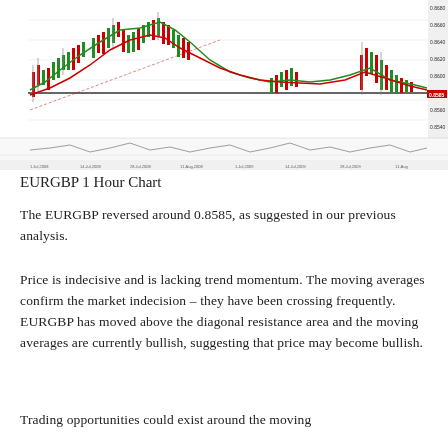[Figure (continuous-plot): EURGBP 1 Hour candlestick chart showing price action with two moving averages (green and red lines) crossing frequently, a horizontal resistance line, and a volume/oscillator indicator below the main chart. Price shows indecisive movement around 0.8585 area.]
EURGBP 1 Hour Chart
The EURGBP reversed around 0.8585, as suggested in our previous analysis.
Price is indecisive and is lacking trend momentum. The moving averages confirm the market indecision – they have been crossing frequently. EURGBP has moved above the diagonal resistance area and the moving averages are currently bullish, suggesting that price may become bullish.
Trading opportunities could exist around the moving